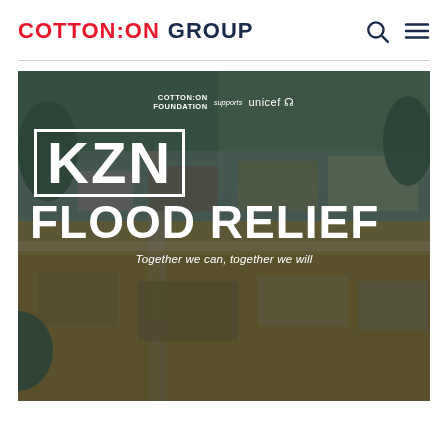COTTON:ON GROUP
[Figure (photo): Aerial photograph of a flooded town/suburb with brown flood water inundating buildings and roads. Overlaid with text: COTTON:ON FOUNDATION supports unicef logo, KZN (in a white box), FLOOD RELIEF, Together we can, together we will]